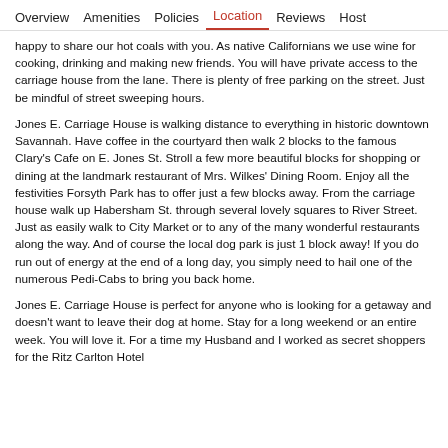Overview  Amenities  Policies  Location  Reviews  Host
happy to share our hot coals with you. As native Californians we use wine for cooking, drinking and making new friends. You will have private access to the carriage house from the lane. There is plenty of free parking on the street. Just be mindful of street sweeping hours.
Jones E. Carriage House is walking distance to everything in historic downtown Savannah. Have coffee in the courtyard then walk 2 blocks to the famous Clary's Cafe on E. Jones St. Stroll a few more beautiful blocks for shopping or dining at the landmark restaurant of Mrs. Wilkes' Dining Room. Enjoy all the festivities Forsyth Park has to offer just a few blocks away. From the carriage house walk up Habersham St. through several lovely squares to River Street. Just as easily walk to City Market or to any of the many wonderful restaurants along the way. And of course the local dog park is just 1 block away! If you do run out of energy at the end of a long day, you simply need to hail one of the numerous Pedi-Cabs to bring you back home.
Jones E. Carriage House is perfect for anyone who is looking for a getaway and doesn't want to leave their dog at home. Stay for a long weekend or an entire week. You will love it. For a time my Husband and I worked as secret shoppers for the Ritz Carlton Hotel